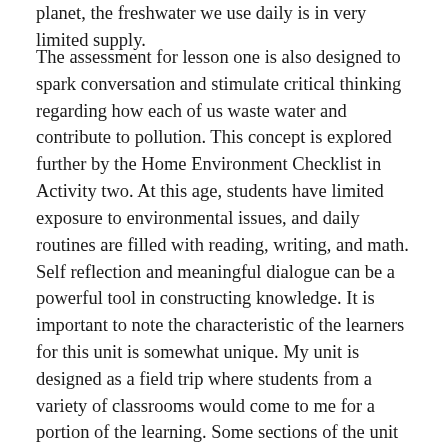planet, the freshwater we use daily is in very limited supply.
The assessment for lesson one is also designed to spark conversation and stimulate critical thinking regarding how each of us waste water and contribute to pollution. This concept is explored further by the Home Environment Checklist in Activity two. At this age, students have limited exposure to environmental issues, and daily routines are filled with reading, writing, and math. Self reflection and meaningful dialogue can be a powerful tool in constructing knowledge. It is important to note the characteristic of the learners for this unit is somewhat unique. My unit is designed as a field trip where students from a variety of classrooms would come to me for a portion of the learning. Some sections of the unit are designed to be facilitated by the teacher in the classroom while others will be hands-on with me during the field trip. I hope this unit would be related and connected to a curricular topic of study in the classrooms, but it is possible that it will be somewhat